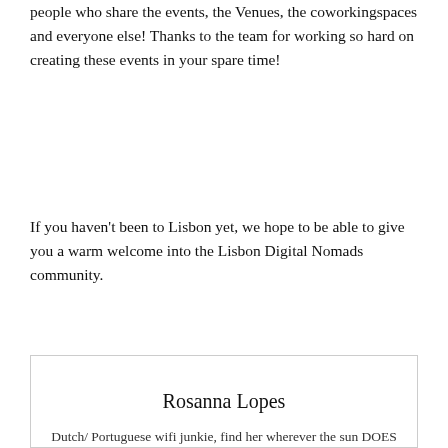people who share the events, the Venues, the coworkingspaces and everyone else! Thanks to the team for working so hard on creating these events in your spare time!
If you haven't been to Lisbon yet, we hope to be able to give you a warm welcome into the Lisbon Digital Nomads community.
[Figure (photo): Profile card for Rosanna Lopes showing a photo of a woman standing next to a motorcycle with a man, in front of a red background. Below the photo is the name 'Rosanna Lopes' and a description: 'Dutch/ Portuguese wifi junkie, find her wherever the sun DOES shine and try to beat her at Fussball if you']